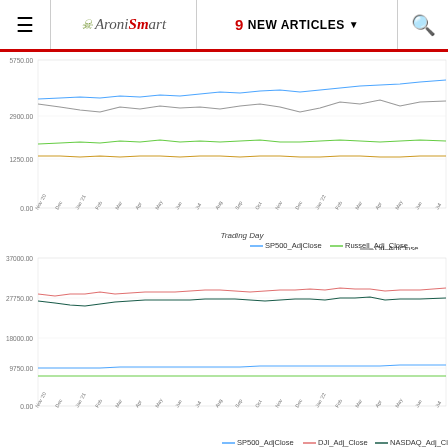≡  AroniSmart  9 NEW ARTICLES ▾  🔍
[Figure (continuous-plot): Line chart showing SP500_AdjClose (blue), Russell_Adj_Close (green), Oil_AdjClose (gray) over trading days. Y-axis ranges from 0 to ~5750+. SP500 trends upward from ~3750 to ~4400, Russell flat ~1750 and gold ~1400.]
[Figure (continuous-plot): Line chart showing SP500_AdjClose (blue), DJI_Adj_Close (red/pink), NASDAQ_Adj_Close (dark teal) over trading days. Y-axis from 0 to ~37000. DJI ~28500-37000, NASDAQ ~27750-36000, SP500 ~9750, green line ~7500.]